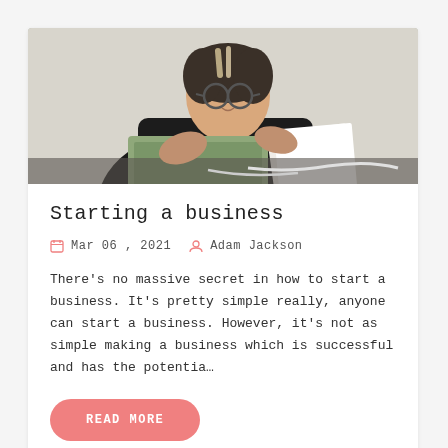[Figure (photo): Woman with glasses smiling, sitting at a desk with a laptop and notebooks, wearing a black top]
Starting a business
Mar 06 , 2021  Adam Jackson
There’s no massive secret in how to start a business. It’s pretty simple really, anyone can start a business. However, it’s not as simple making a business which is successful and has the potentia…
READ MORE